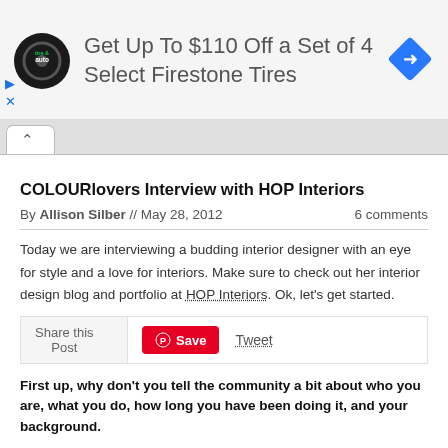[Figure (screenshot): Advertisement banner: Firestone tire & auto logo, text 'Get Up To $110 Off a Set of 4 Select Firestone Tires', blue diamond navigation icon, play and close controls]
[Figure (screenshot): Browser tab bar with caret/up arrow tab indicator]
COLOURlovers Interview with HOP Interiors
By Allison Silber // May 28, 2012   6 comments
Today we are interviewing a budding interior designer with an eye for style and a love for interiors. Make sure to check out her interior design blog and portfolio at HOP Interiors. Ok, let's get started.
Share this Post  Save  Tweet
First up, why don't you tell the community a bit about who you are, what you do, how long you have been doing it, and your background.
Hi COLOURlovers ladies and gents! I am Mary-Ellen